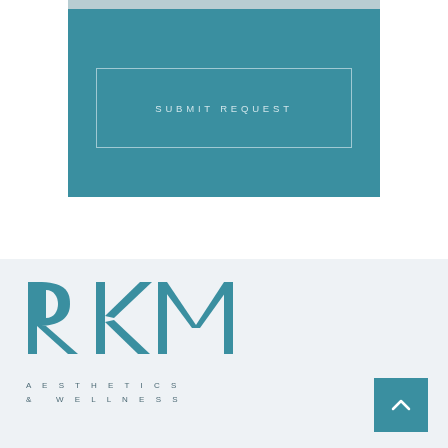[Figure (screenshot): Teal colored form section with a light-colored input bar at the top and a 'SUBMIT REQUEST' button outlined in white/light color in the center]
[Figure (logo): RKM Aesthetics & Wellness logo — large stylized letters R, K, M in teal on a light gray background, with 'AESTHETICS & WELLNESS' in spaced capitals below]